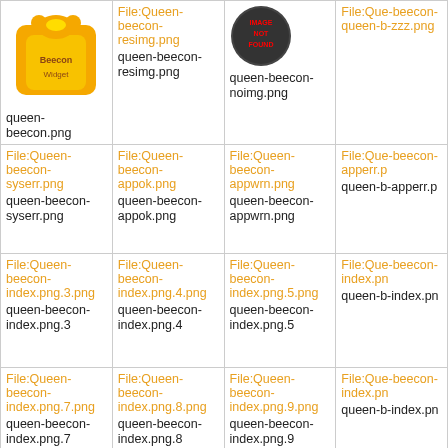| col1 | col2 | col3 | col4 |
| --- | --- | --- | --- |
| [bee image] queen-beecon.png | File:Queen-beecon-resimg.png queen-beecon-resimg.png | [noimg] queen-beecon-noimg.png | File:Que-beecon-queen-b-zzz.png |
| File:Queen-beecon-syserr.png queen-beecon-syserr.png | File:Queen-beecon-appok.png queen-beecon-appok.png | File:Queen-beecon-appwrn.png queen-beecon-appwrn.png | File:Que-beecon-apperr.p queen-b-apperr.p |
| File:Queen-beecon-index.png.3.png queen-beecon-index.png.3 | File:Queen-beecon-index.png.4.png queen-beecon-index.png.4 | File:Queen-beecon-index.png.5.png queen-beecon-index.png.5 | File:Que-beecon-index.pn queen-b-index.pn |
| File:Queen-beecon-index.png.7.png queen-beecon-index.png.7 | File:Queen-beecon-index.png.8.png queen-beecon-index.png.8 | File:Queen-beecon-index.png.9.png queen-beecon-index.png.9 | File:Que-beecon-index.pn queen-b-index.pn |
| File:Queen-beecon-... | File:Queen-... | File:Queen-... |  |